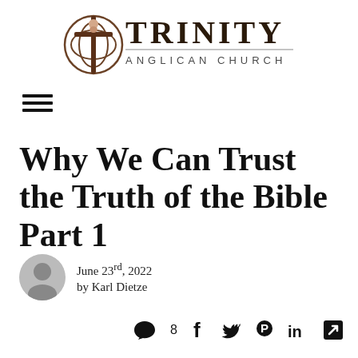[Figure (logo): Trinity Anglican Church logo with cross and knot symbol, black text]
[Figure (other): Hamburger menu icon with three horizontal lines]
Why We Can Trust the Truth of the Bible Part 1
June 23rd, 2022
by Karl Dietze
[Figure (other): Social sharing icons: comment bubble with 8, Facebook f, Twitter bird, Pinterest P, LinkedIn in, share/link icon]